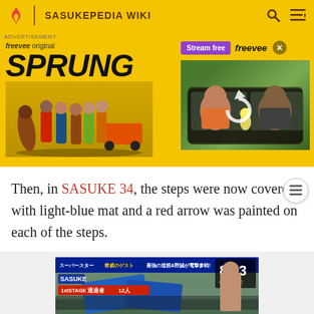SASUKEPEDIA WIKI
[Figure (screenshot): Advertisement for Freevee original show 'SPRUNG' on yellow background, with stream free button, Freevee logo, close button, and video thumbnail showing people in a car]
Then, in SASUKE 34, the steps were now covered with light-blue mat and a red arrow was painted on each of the steps.
[Figure (screenshot): Video thumbnail of SASUKE competition showing obstacle course with Japanese text overlay, player count, and score display showing 86.3]